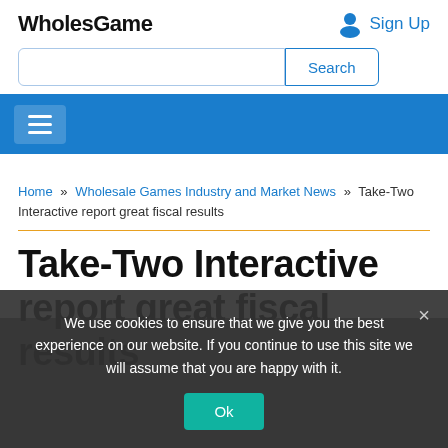WholesGame
Sign Up
Search
Home » Wholesale Games Industry and Market News » Take-Two Interactive report great fiscal results
Take-Two Interactive report great fiscal results
We use cookies to ensure that we give you the best experience on our website. If you continue to use this site we will assume that you are happy with it.
Ok